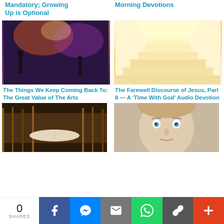Mandatory; Growing Up is Optional
Morning Devotions
[Figure (photo): Concert scene with performers on stage under colorful lights]
The Things We Keep Coming Back To: The Great Value of The Arts
[Figure (photo): Bright staircase leading upward into light]
The Farewell Discourse of Jesus, Part 8 — A 'Time With God' Audio Devotion
[Figure (photo): Open book in a library surrounded by bookshelves]
[Figure (photo): Man with wide eyes looking surprised]
0 SHARES